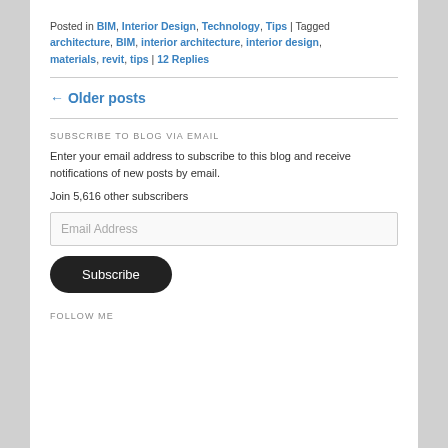Posted in BIM, Interior Design, Technology, Tips | Tagged architecture, BIM, interior architecture, interior design, materials, revit, tips | 12 Replies
← Older posts
SUBSCRIBE TO BLOG VIA EMAIL
Enter your email address to subscribe to this blog and receive notifications of new posts by email.
Join 5,616 other subscribers
Email Address
Subscribe
FOLLOW ME